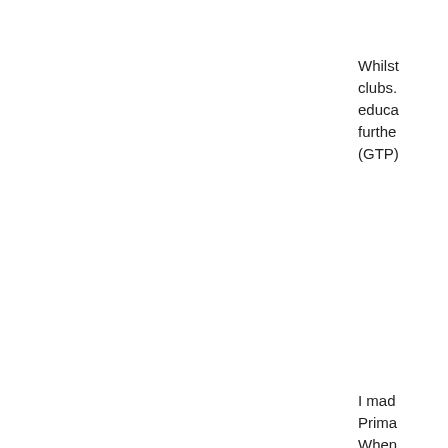Whilst clubs. educa furthe (GTP)
I mad Prima When music after t where be cre makin for Im
Now I under